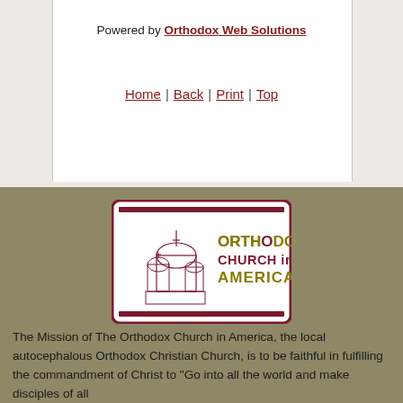Powered by Orthodox Web Solutions
Home | Back | Print | Top
[Figure (logo): Orthodox Church in America logo with church illustration and text]
The Mission of The Orthodox Church in America, the local autocephalous Orthodox Christian Church, is to be faithful in fulfilling the commandment of Christ to "Go into all the world and make disciples of all